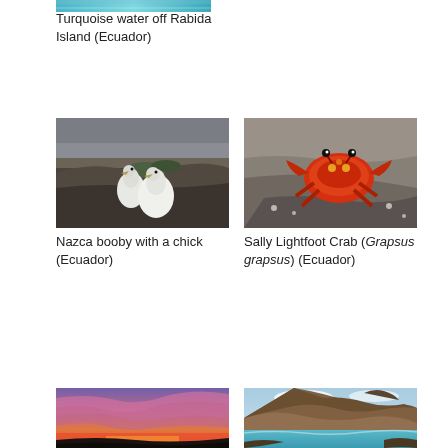[Figure (photo): Turquoise water (partial, cropped at top of page)]
Turquoise water off Rabida Island (Ecuador)
[Figure (photo): Nazca booby with a chick standing on rocky terrain in Ecuador]
Nazca booby with a chick (Ecuador)
[Figure (photo): Sally Lightfoot Crab (Grapsus grapsus) on rocky surface in Ecuador]
Sally Lightfoot Crab (Grapsus grapsus) (Ecuador)
[Figure (photo): Sunset with dramatic pink and orange clouds over silhouetted landscape in Ecuador]
[Figure (photo): Coastal rocky hillside with turquoise water in Ecuador]